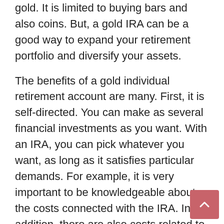gold. It is limited to buying bars and also coins. But, a gold IRA can be a good way to expand your retirement portfolio and diversify your assets.
The benefits of a gold individual retirement account are many. First, it is self-directed. You can make as several financial investments as you want. With an IRA, you can pick whatever you want, as long as it satisfies particular demands. For example, it is very important to be knowledgeable about the costs connected with the IRA. In addition, there are also costs related to the transfer of funds. A great gold individual retirement account firm will certainly not push you right into getting properties you do not require.